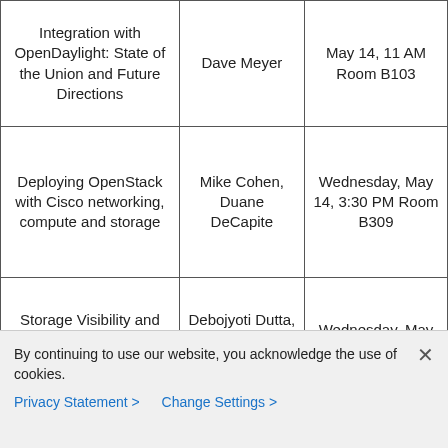| Session Title | Speaker | Date/Time/Room |
| --- | --- | --- |
| Integration with OpenDaylight: State of the Union and Future Directions | Dave Meyer | May 14, 11 AM Room B103 |
| Deploying OpenStack with Cisco networking, compute and storage | Mike Cohen, Duane DeCapite | Wednesday, May 14, 3:30 PM Room B309 |
| Storage Visibility and Optimization for Openstack | Debojyoti Dutta, Yathiraj Udupi, Kai | Wednesday, May 14, 3:30 PM Room |
By continuing to use our website, you acknowledge the use of cookies.
Privacy Statement > Change Settings >